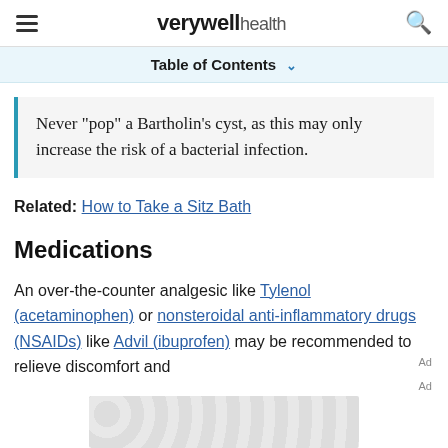verywell health
Table of Contents
Never "pop" a Bartholin's cyst, as this may only increase the risk of a bacterial infection.
Related: How to Take a Sitz Bath
Medications
An over-the-counter analgesic like Tylenol (acetaminophen) or nonsteroidal anti-inflammatory drugs (NSAIDs) like Advil (ibuprofen) may be recommended to relieve discomfort and